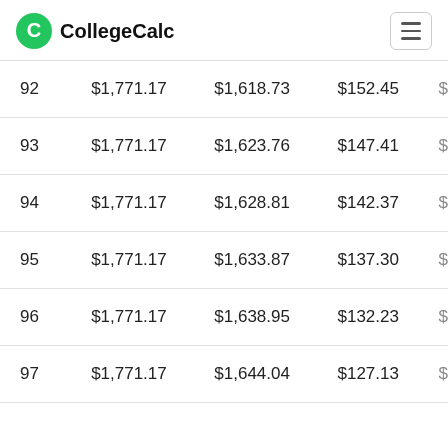CollegeCalc
| # | Payment | Principal | Interest |  |
| --- | --- | --- | --- | --- |
| 92 | $1,771.17 | $1,618.73 | $152.45 | $ |
| 93 | $1,771.17 | $1,623.76 | $147.41 | $ |
| 94 | $1,771.17 | $1,628.81 | $142.37 | $ |
| 95 | $1,771.17 | $1,633.87 | $137.30 | $ |
| 96 | $1,771.17 | $1,638.95 | $132.23 | $ |
| 97 | $1,771.17 | $1,644.04 | $127.13 | $ |